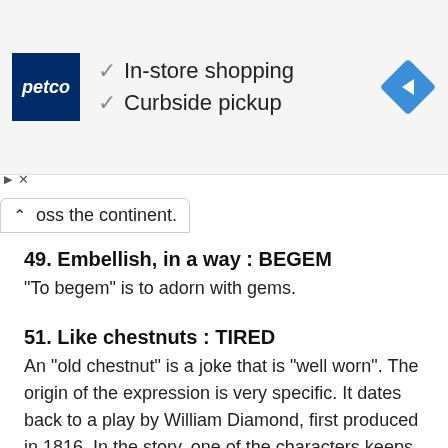[Figure (other): Petco advertisement banner with Petco logo, checkmarks for In-store shopping and Curbside pickup, and a blue navigation arrow icon]
oss the continent.
49. Embellish, in a way : BEGEM
“To begem” is to adorn with gems.
51. Like chestnuts : TIRED
An “old chestnut” is a joke that is “well worn”. The origin of the expression is very specific. It dates back to a play by William Diamond, first produced in 1816. In the story, one of the characters keeps telling the same joke over and over, with minor variations. The joke is about a cork tree, and an exasperated listener after hearing the joke one time too many refutes the use of the cork tree saying, “A Chestnut. I have heard you tell the joke 27 times and I’m sure it